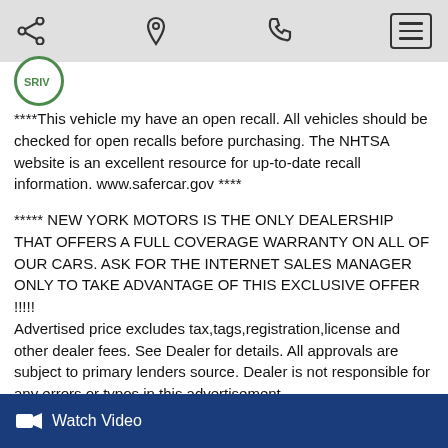[Navigation bar with share, location, phone, and menu icons]
[Figure (logo): Circular green-bordered logo with text SRIV]
****This vehicle my have an open recall. All vehicles should be checked for open recalls before purchasing. The NHTSA website is an excellent resource for up-to-date recall information. www.safercar.gov ****
***** NEW YORK MOTORS IS THE ONLY DEALERSHIP THAT OFFERS A FULL COVERAGE WARRANTY ON ALL OF OUR CARS. ASK FOR THE INTERNET SALES MANAGER ONLY TO TAKE ADVANTAGE OF THIS EXCLUSIVE OFFER !!!!!
Advertised price excludes tax,tags,registration,license and other dealer fees. See Dealer for details. All approvals are subject to primary lenders source. Dealer is not responsible for any errors or typos in this advertisement.
Prices are subject to change without notice. For further info please call
718-701-4189.
Watch Video